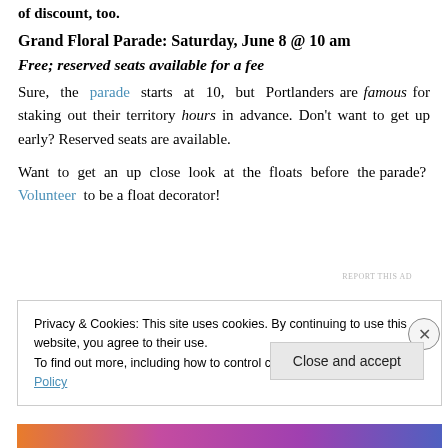of discount, too.
Grand Floral Parade: Saturday, June 8 @ 10 am
Free; reserved seats available for a fee
Sure, the parade starts at 10, but Portlanders are famous for staking out their territory hours in advance. Don't want to get up early? Reserved seats are available.
Want to get an up close look at the floats before the parade? Volunteer to be a float decorator!
REPORT THIS AD
Privacy & Cookies: This site uses cookies. By continuing to use this website, you agree to their use.
To find out more, including how to control cookies, see here: Cookie Policy
Close and accept